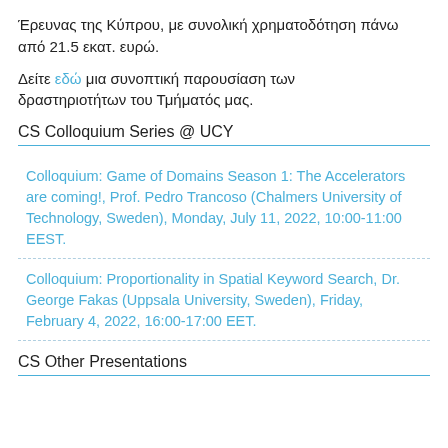Έρευνας της Κύπρου, με συνολική χρηματοδότηση πάνω από 21.5 εκατ. ευρώ.
Δείτε εδώ μια συνοπτική παρουσίαση των δραστηριοτήτων του Τμήματός μας.
CS Colloquium Series @ UCY
Colloquium: Game of Domains Season 1: The Accelerators are coming!, Prof. Pedro Trancoso (Chalmers University of Technology, Sweden), Monday, July 11, 2022, 10:00-11:00 EEST.
Colloquium: Proportionality in Spatial Keyword Search, Dr. George Fakas (Uppsala University, Sweden), Friday, February 4, 2022, 16:00-17:00 EET.
CS Other Presentations